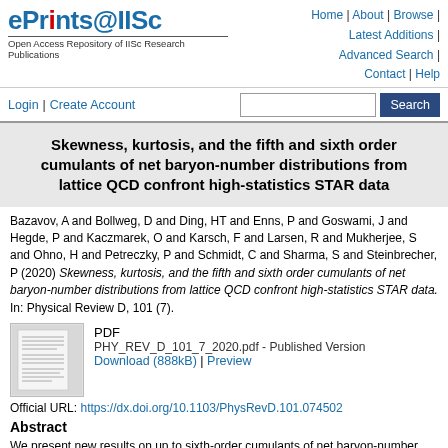[Figure (logo): ePrints@IISc logo with tagline 'Open Access Repository of IISc Research Publications']
Home | About | Browse | Latest Additions | Advanced Search | Contact | Help
Login | Create Account  [Search box] Search
Skewness, kurtosis, and the fifth and sixth order cumulants of net baryon-number distributions from lattice QCD confront high-statistics STAR data
Bazavov, A and Bollweg, D and Ding, HT and Enns, P and Goswami, J and Hegde, P and Kaczmarek, O and Karsch, F and Larsen, R and Mukherjee, S and Ohno, H and Petreczky, P and Schmidt, C and Sharma, S and Steinbrecher, P (2020) Skewness, kurtosis, and the fifth and sixth order cumulants of net baryon-number distributions from lattice QCD confront high-statistics STAR data. In: Physical Review D, 101 (7).
[Figure (other): PDF thumbnail preview of the paper]
PDF
PHY_REV_D_101_7_2020.pdf - Published Version
Download (888kB) | Preview
Official URL: https://dx.doi.org/10.1103/PhysRevD.101.074502
Abstract
We present new results on up to sixth-order cumulants of net baryon-number fluctuations at small values of the baryon chemical potential, μB, obtained in